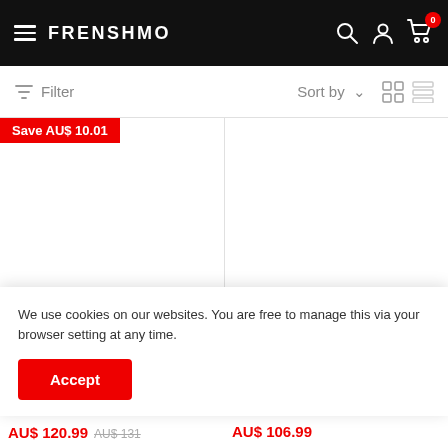FRENSHMO — navigation bar with hamburger menu, logo, search, account, cart (0)
Filter   Sort by
Save AU$ 10.01
We use cookies on our websites. You are free to manage this via your browser setting at any time.
Accept
AU$ 120.99   AU$ 131   AU$ 106.99